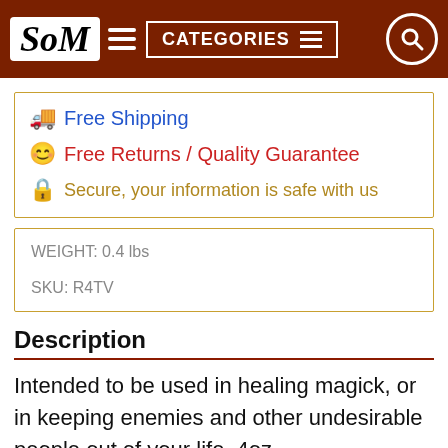SoM | CATEGORIES
🚚 Free Shipping
😊 Free Returns / Quality Guarantee
🔒 Secure, your information is safe with us
WEIGHT: 0.4 lbs
SKU: R4TV
Description
Intended to be used in healing magick, or in keeping enemies and other undesirable people out of your life, 4oz